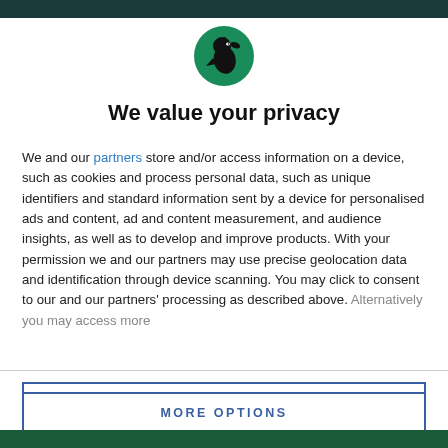[Figure (logo): Circular green background with a black raven/crow silhouette logo]
We value your privacy
We and our partners store and/or access information on a device, such as cookies and process personal data, such as unique identifiers and standard information sent by a device for personalised ads and content, ad and content measurement, and audience insights, as well as to develop and improve products. With your permission we and our partners may use precise geolocation data and identification through device scanning. You may click to consent to our and our partners' processing as described above. Alternatively you may access more
AGREE
MORE OPTIONS